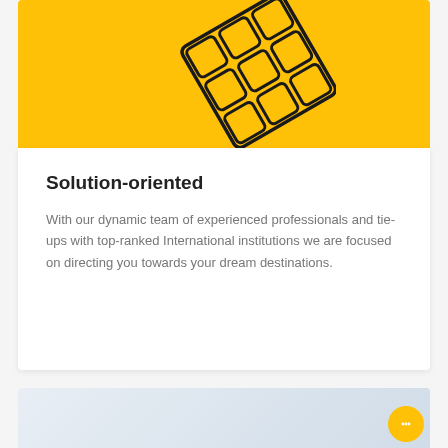[Figure (illustration): Yellow background card section with a partial Rubik's cube illustration (rotated 3x3 grid of rounded squares in black outline on yellow background), cropped at top]
Solution-oriented
With our dynamic team of experienced professionals and tie-ups with top-ranked International institutions we are focused on directing you towards your dream destinations.
[Figure (illustration): Bottom section showing a light grey-blue gradient background, partially visible, with a circular orange chat button in the bottom right corner]